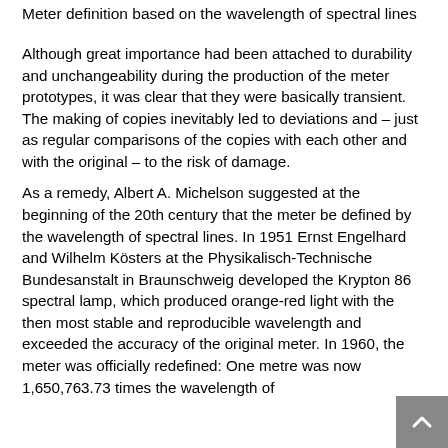Meter definition based on the wavelength of spectral lines
Although great importance had been attached to durability and unchangeability during the production of the meter prototypes, it was clear that they were basically transient. The making of copies inevitably led to deviations and – just as regular comparisons of the copies with each other and with the original – to the risk of damage.
As a remedy, Albert A. Michelson suggested at the beginning of the 20th century that the meter be defined by the wavelength of spectral lines. In 1951 Ernst Engelhard and Wilhelm Kösters at the Physikalisch-Technische Bundesanstalt in Braunschweig developed the Krypton 86 spectral lamp, which produced orange-red light with the then most stable and reproducible wavelength and exceeded the accuracy of the original meter. In 1960, the meter was officially redefined: One metre was now 1,650,763.73 times the wavelength of